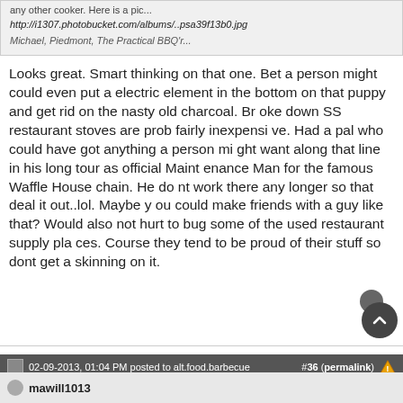any other cooker. Here is a pic...
http://i1307.photobucket.com/albums/..psa39f13b0.jpg
Michael, Piedmont, The Practical BBQ'r...
Looks great. Smart thinking on that one. Bet a person might could even put a electric element in the bottom on that puppy and get rid on the nasty old charcoal. Broke down SS restaurant stoves are prob fairly inexpensive. Had a pal who could have got anything a person might want along that line in his long tour as official Maintenance Man for the famous Waffle House chain. He dont work there any longer so that deal it out..lol. Maybe you could make friends with a guy like that? Would also not hurt to bug some of the used restaurant supply places. Course they tend to be proud of their stuff so dont get a skinning on it.
02-09-2013, 01:04 PM posted to alt.food.barbecue  #36 (permalink)
mawill1013